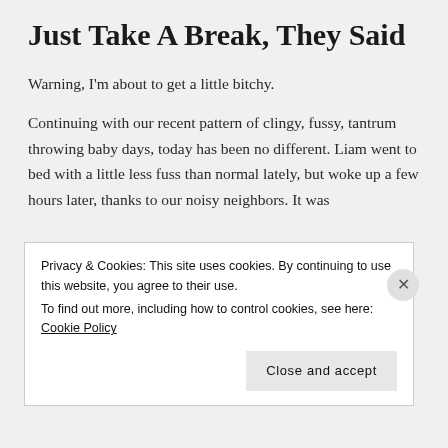Just Take A Break, They Said
Warning, I'm about to get a little bitchy.
Continuing with our recent pattern of clingy, fussy, tantrum throwing baby days, today has been no different. Liam went to bed with a little less fuss than normal lately, but woke up a few hours later, thanks to our noisy neighbors. It was
Privacy & Cookies: This site uses cookies. By continuing to use this website, you agree to their use.
To find out more, including how to control cookies, see here: Cookie Policy
Close and accept